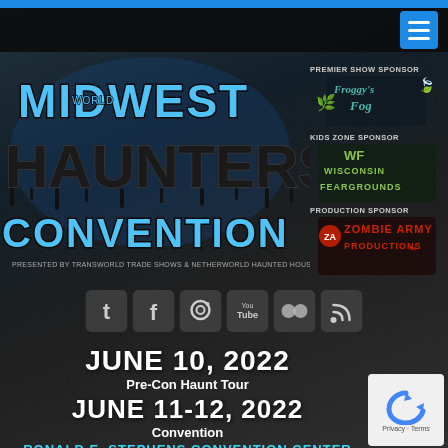[Figure (screenshot): Midwest Haunters Convention website screenshot showing logo with sponsors (Froggy's Fog, Wisconsin Feargrounds, Zombie Army Productions), social media icons, event dates June 10 2022 (Pre-Con Haunt Tour) and June 11-12 2022 (Convention), venue Ronald E. Stephens Convention Center]
MIDWEST HAUNTERS CONVENTION
PRESENTED BY TRANSWORLD TRADE SHOWS & NETHERWORLD HAUNTED HOUSE
PREMIER SHOW SPONSOR
Froggy's Fog
KIDS ZONE SPONSOR
Wisconsin Feargrounds
PRODUCTION SPONSOR
Zombie Army Productions
JUNE 10, 2022
Pre-Con Haunt Tour
JUNE 11-12, 2022
Convention
RONALD E. STEPHENS CONVENTION CENTER